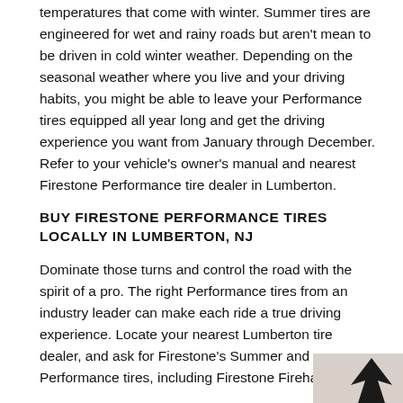temperatures that come with winter. Summer tires are engineered for wet and rainy roads but aren't mean to be driven in cold winter weather. Depending on the seasonal weather where you live and your driving habits, you might be able to leave your Performance tires equipped all year long and get the driving experience you want from January through December. Refer to your vehicle's owner's manual and nearest Firestone Performance tire dealer in Lumberton.
BUY FIRESTONE PERFORMANCE TIRES LOCALLY IN LUMBERTON, NJ
Dominate those turns and control the road with the spirit of a pro. The right Performance tires from an industry leader can make each ride a true driving experience. Locate your nearest Lumberton tire dealer, and ask for Firestone's Summer and Performance tires, including Firestone Firehawk.
[Figure (photo): Dark silhouette of a tree against a light background, partially visible in the bottom-right corner of the page.]